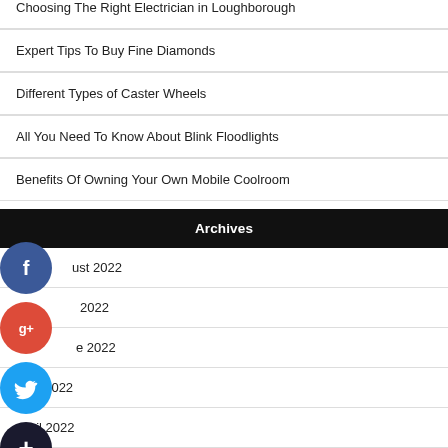Choosing The Right Electrician in Loughborough
Expert Tips To Buy Fine Diamonds
Different Types of Caster Wheels
All You Need To Know About Blink Floodlights
Benefits Of Owning Your Own Mobile Coolroom
Archives
August 2022
July 2022
June 2022
May 2022
April 2022